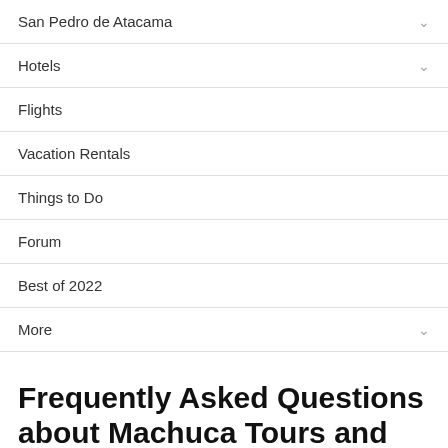San Pedro de Atacama
Hotels
Flights
Vacation Rentals
Things to Do
Forum
Best of 2022
More
Frequently Asked Questions about Machuca Tours and Tickets